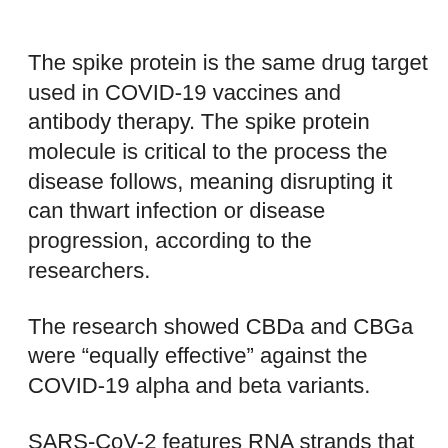The spike protein is the same drug target used in COVID-19 vaccines and antibody therapy. The spike protein molecule is critical to the process the disease follows, meaning disrupting it can thwart infection or disease progression, according to the researchers.
The research showed CBDa and CBGa were “equally effective” against the COVID-19 alpha and beta variants.
SARS-CoV-2 features RNA strands that encode four main proteins – spike, envelope, membrane and nucleocapsid – along with 16 nonstructural proteins and several “accessory proteins,” according to van Breeman.
“Any part of the infection and replication cycle is a potential target for antiviral intervention, and the